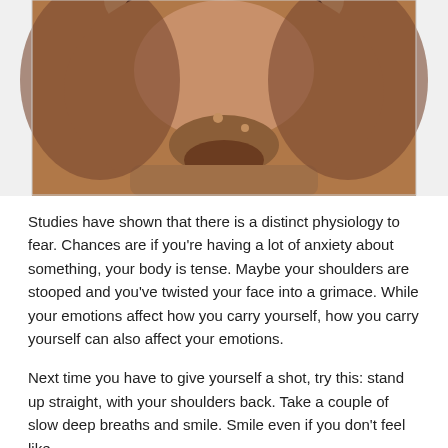[Figure (photo): Close-up photo of a person with dark skin smiling widely, showing white teeth at the top. The lower half of the face and chin are visible, with some stubble on the chin area. The background is white/light grey.]
Studies have shown that there is a distinct physiology to fear. Chances are if you're having a lot of anxiety about something, your body is tense. Maybe your shoulders are stooped and you've twisted your face into a grimace. While your emotions affect how you carry yourself, how you carry yourself can also affect your emotions.
Next time you have to give yourself a shot, try this: stand up straight, with your shoulders back. Take a couple of slow deep breaths and smile. Smile even if you don't feel like